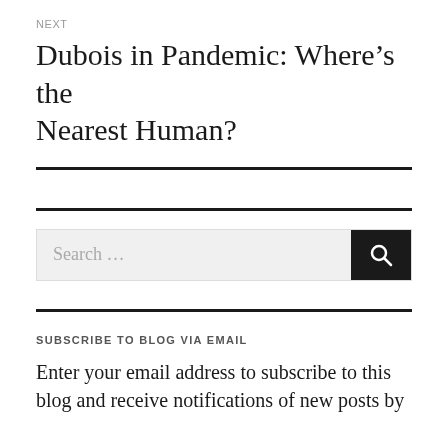NEXT
Dubois in Pandemic: Where’s the Nearest Human?
[Figure (other): Search bar with text 'Search ...' and a black search button with magnifying glass icon]
SUBSCRIBE TO BLOG VIA EMAIL
Enter your email address to subscribe to this blog and receive notifications of new posts by